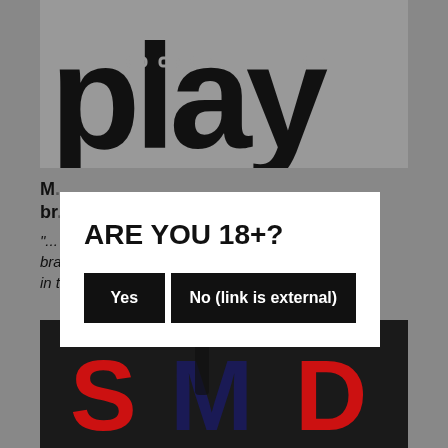[Figure (logo): Logo showing the word 'play' in large black bold font with chain-link design elements on a gray background]
M... br...
"... bra... le in the realm of kinkism."
[Figure (logo): SMD logo with large red and dark navy letters on black background, with silhouette of person between letters]
ARE YOU 18+?
Yes | No (link is external)